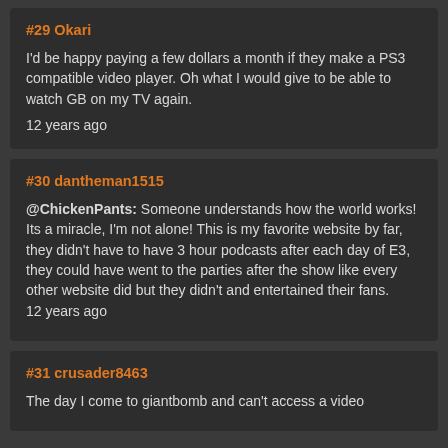#29 Okari
I'd be happy paying a few dollars a month if they make a PS3 compatible video player. Oh what I would give to be able to watch GB on my TV again.
12 years ago
#30 dantheman1515
@ChickenPants: Someone understands how the world works! Its a miracle, I'm not alone! This is my favorite website by far, they didn't have to have 3 hour podcasts after each day of E3, they could have went to the parties after the show like every other website did but they didn't and entertained their fans.
12 years ago
#31 crusader8463
The day I come to giantbomb and can't access a video